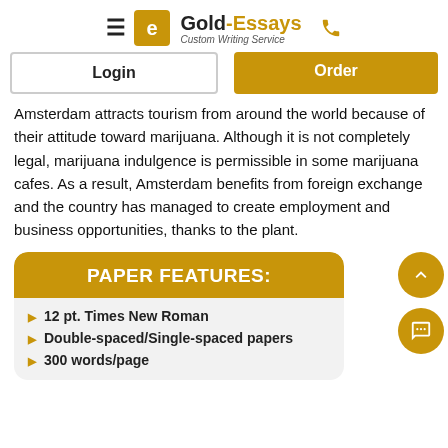Gold-Essays Custom Writing Service
Login
Order
Amsterdam attracts tourism from around the world because of their attitude toward marijuana. Although it is not completely legal, marijuana indulgence is permissible in some marijuana cafes. As a result, Amsterdam benefits from foreign exchange and the country has managed to create employment and business opportunities, thanks to the plant.
PAPER FEATURES:
12 pt. Times New Roman
Double-spaced/Single-spaced papers
300 words/page